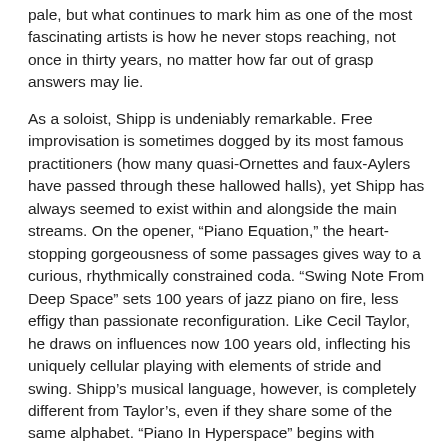pale, but what continues to mark him as one of the most fascinating artists is how he never stops reaching, not once in thirty years, no matter how far out of grasp answers may lie.
As a soloist, Shipp is undeniably remarkable. Free improvisation is sometimes dogged by its most famous practitioners (how many quasi-Ornettes and faux-Aylers have passed through these hallowed halls), yet Shipp has always seemed to exist within and alongside the main streams. On the opener, “Piano Equation,” the heart-stopping gorgeousness of some passages gives way to a curious, rhythmically constrained coda. “Swing Note From Deep Space” sets 100 years of jazz piano on fire, less effigy than passionate reconfiguration. Like Cecil Taylor, he draws on influences now 100 years old, inflecting his uniquely cellular playing with elements of stride and swing. Shipp’s musical language, however, is completely different from Taylor’s, even if they share some of the same alphabet. “Piano In Hyperspace” begins with moments of lightness and exploration, then subtly reflects back motifs from “Piano Equation,” and a cosmic order begins shifting into place.